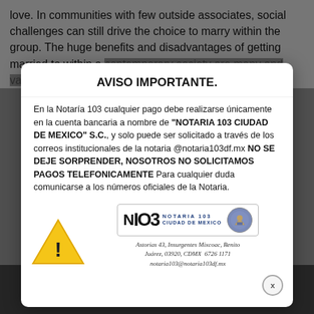love. In communities with few outside associates, social challenges can still drive the choice to marry within the group. The huge benefits and disadvantages of getting married to within a contemporary society are many and varied. A marriage protects its ch...
AVISO IMPORTANTE.
En la Notaría 103 cualquier pago debe realizarse únicamente en la cuenta bancaria a nombre de "NOTARIA 103 CIUDAD DE MEXICO" S.C., y solo puede ser solicitado a través de los correos institucionales de la notaria @notaria103df.mx NO SE DEJE SORPRENDER, NOSOTROS NO SOLICITAMOS PAGOS TELEFONICAMENTE Para cualquier duda comunicarse a los números oficiales de la Notaria.
[Figure (logo): Warning triangle icon with exclamation mark]
[Figure (logo): Notaria 103 Ciudad de Mexico logo with coat of arms]
Astorias 43, Insurgentes Mixcoac, Benito Juárez, 03920, CDMX 6726 1171
notaria103@notaria103df.mx
X